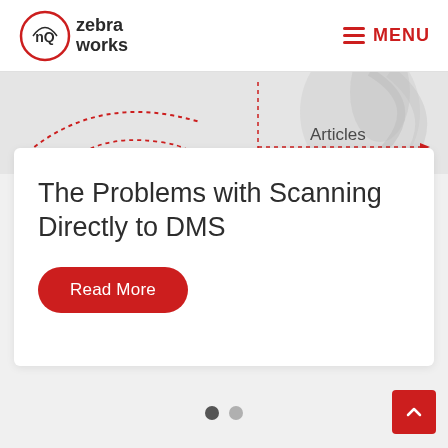nQ zebraworks | MENU
[Figure (screenshot): Decorative graphic with dotted arc outlines in red and a grey swirl/smoke image on the right side, with 'Articles' label and red dotted arrow]
The Problems with Scanning Directly to DMS
Read More
[Figure (other): Carousel navigation: two dots (active grey, inactive light grey) and a red scroll-to-top button with upward chevron]